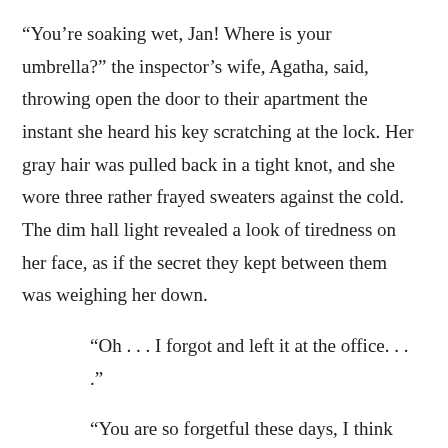"You’re soaking wet, Jan! Where is your umbrella?" the inspector’s wife, Agatha, said, throwing open the door to their apartment the instant she heard his key scratching at the lock. Her gray hair was pulled back in a tight knot, and she wore three rather frayed sweaters against the cold. The dim hall light revealed a look of tiredness on her face, as if the secret they kept between them was weighing her down.
"Oh . . . I forgot and left it at the office. . . ."
"You are so forgetful these days, I think you are working too hard. Come and eat your meal. . . ." Agatha spoke dispassionately, leading her husband